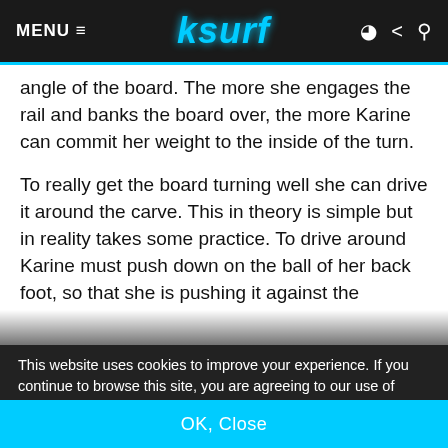MENU ≡   ksurf
angle of the board. The more she engages the rail and banks the board over, the more Karine can commit her weight to the inside of the turn.
To really get the board turning well she can drive it around the carve. This in theory is simple but in reality takes some practice. To drive around Karine must push down on the ball of her back foot, so that she is pushing it against the
This website uses cookies to improve your experience. If you continue to browse this site, you are agreeing to our use of cookies. To learn more about the cookies we use, please view our Cookie Policy and Privacy Policy. You can disable cookies at any time within your browser settings.
OK, Close